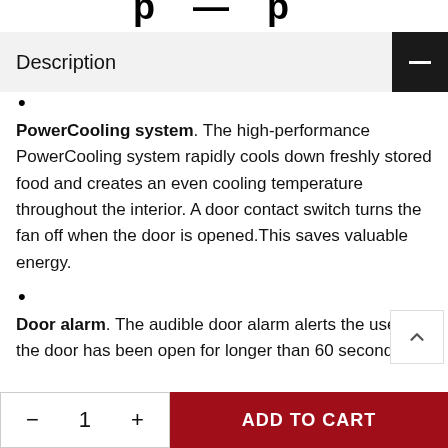p
Description
PowerCooling system. The high-performance PowerCooling system rapidly cools down freshly stored food and creates an even cooling temperature throughout the interior. A door contact switch turns the fan off when the door is opened.This saves valuable energy.
Door alarm. The audible door alarm alerts the user the door has been open for longer than 60 seconds